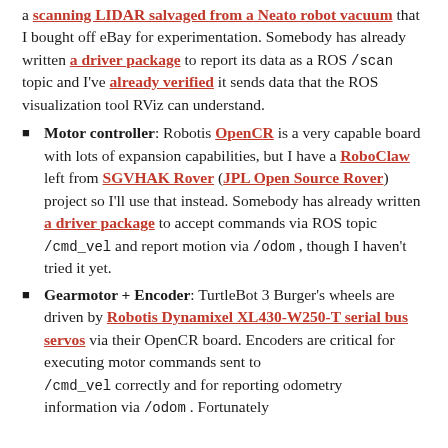a scanning LIDAR salvaged from a Neato robot vacuum that I bought off eBay for experimentation. Somebody has already written a driver package to report its data as a ROS /scan topic and I've already verified it sends data that the ROS visualization tool RViz can understand.
Motor controller: Robotis OpenCR is a very capable board with lots of expansion capabilities, but I have a RoboClaw left from SGVHAK Rover (JPL Open Source Rover) project so I'll use that instead. Somebody has already written a driver package to accept commands via ROS topic /cmd_vel and report motion via /odom , though I haven't tried it yet.
Gearmotor + Encoder: TurtleBot 3 Burger's wheels are driven by Robotis Dynamixel XL430-W250-T serial bus servos via their OpenCR board. Encoders are critical for executing motor commands sent to /cmd_vel correctly and for reporting odometry information via /odom . Fortunately